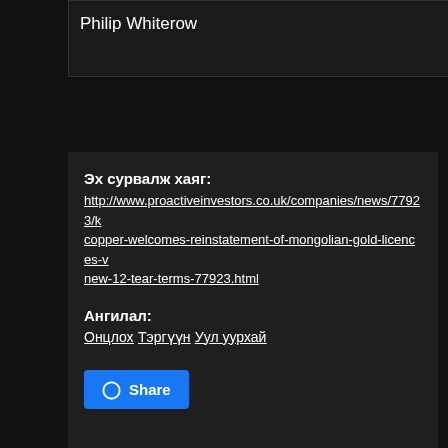Philip Whiterow
Эх сурвалж хаяг: http://www.proactiveinvestors.co.uk/companies/news/77923/k copper-welcomes-reinstatement-of-mongolian-gold-licences-v new-12-tear-terms-77923.html
Ангилал: Онцлох, Тэргүүн, Уул уурхай
Share
IRON
Iron ore, copper prices jump on upbeat economic forecasts
Rio Tinto set to quit Guinea iron ore project with sale to Chinalco
COPPER
Copper price p
Copper price n 2014
Rio Tinto says